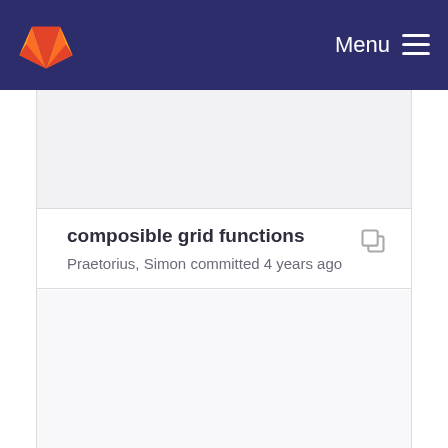Menu
composible grid functions
Praetorius, Simon committed 4 years ago